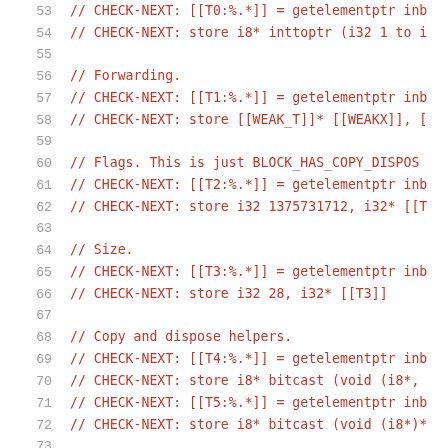53    // CHECK-NEXT: [[T0:%.\*]] = getelementptr inb
54    // CHECK-NEXT: store i8* inttoptr (i32 1 to i
55
56    // Forwarding.
57    // CHECK-NEXT: [[T1:%.\*]] = getelementptr inb
58    // CHECK-NEXT: store [[WEAK_T]]* [[WEAKX]], [
59
60    // Flags.  This is just BLOCK_HAS_COPY_DISPOS
61    // CHECK-NEXT: [[T2:%.\*]] = getelementptr inb
62    // CHECK-NEXT: store i32 1375731712, i32* [[T
63
64    // Size.
65    // CHECK-NEXT: [[T3:%.\*]] = getelementptr inb
66    // CHECK-NEXT: store i32 28, i32* [[T3]]
67
68    // Copy and dispose helpers.
69    // CHECK-NEXT: [[T4:%.\*]] = getelementptr inb
70    // CHECK-NEXT: store i8* bitcast (void (i8*,
71    // CHECK-NEXT: [[T5:%.\*]] = getelementptr inb
72    // CHECK-NEXT: store i8* bitcast (void (i8*)*
73
74    // [[ ...